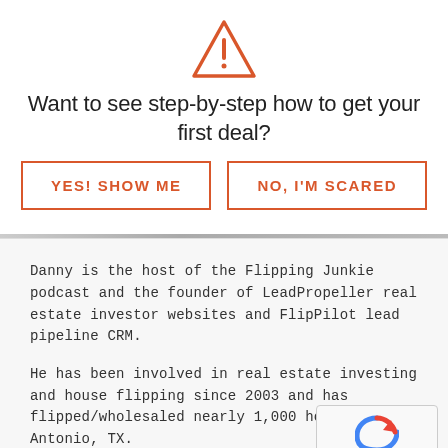[Figure (illustration): Orange warning triangle with exclamation mark icon]
Want to see step-by-step how to get your first deal?
[Figure (other): Two buttons: 'YES! SHOW ME' and 'NO, I'M SCARED' with orange borders]
Danny is the host of the Flipping Junkie podcast and the founder of LeadPropeller real estate investor websites and FlipPilot lead pipeline CRM.
He has been involved in real estate investing and house flipping since 2003 and has flipped/wholesaled nearly 1,000 houses in San Antonio, TX.